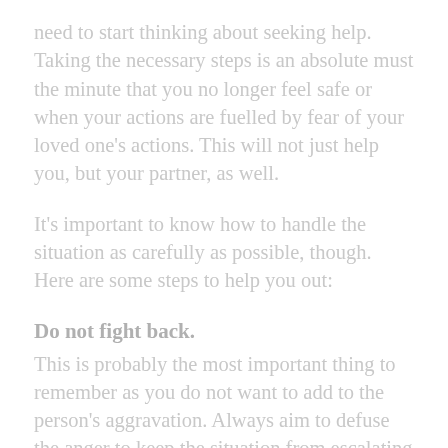need to start thinking about seeking help. Taking the necessary steps is an absolute must the minute that you no longer feel safe or when your actions are fuelled by fear of your loved one's actions. This will not just help you, but your partner, as well.
It's important to know how to handle the situation as carefully as possible, though. Here are some steps to help you out:
Do not fight back.
This is probably the most important thing to remember as you do not want to add to the person's aggravation. Always aim to defuse the anger to keep the situation from escalating instead.